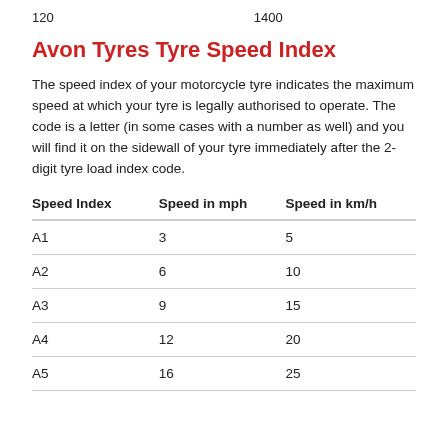120	1400
Avon Tyres Tyre Speed Index
The speed index of your motorcycle tyre indicates the maximum speed at which your tyre is legally authorised to operate. The code is a letter (in some cases with a number as well) and you will find it on the sidewall of your tyre immediately after the 2-digit tyre load index code.
| Speed Index | Speed in mph | Speed in km/h |
| --- | --- | --- |
| A1 | 3 | 5 |
| A2 | 6 | 10 |
| A3 | 9 | 15 |
| A4 | 12 | 20 |
| A5 | 16 | 25 |